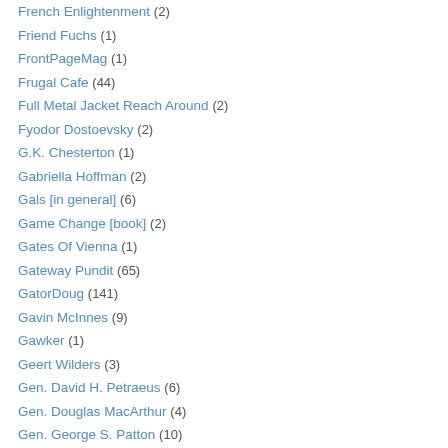French Enlightenment (2)
Friend Fuchs (1)
FrontPageMag (1)
Frugal Cafe (44)
Full Metal Jacket Reach Around (2)
Fyodor Dostoevsky (2)
G.K. Chesterton (1)
Gabriella Hoffman (2)
Gals [in general] (6)
Game Change [book] (2)
Gates Of Vienna (1)
Gateway Pundit (65)
GatorDoug (141)
Gavin McInnes (9)
Gawker (1)
Geert Wilders (3)
Gen. David H. Petraeus (6)
Gen. Douglas MacArthur (4)
Gen. George S. Patton (10)